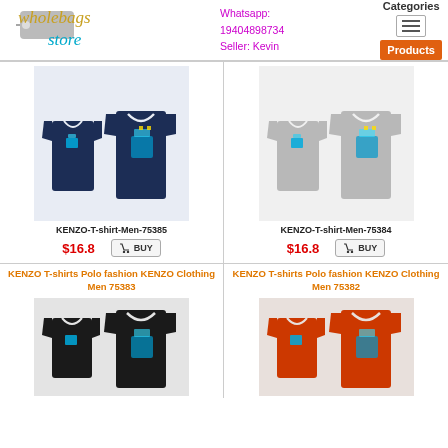Wholebags Store | Whatsapp: 19404898734 | Seller: Kevin | Categories | Products
[Figure (photo): KENZO T-shirt Men navy blue, product 75385, two views]
KENZO-T-shirt-Men-75385
$16.8  BUY
[Figure (photo): KENZO T-shirt Men gray, product 75384, two views]
KENZO-T-shirt-Men-75384
$16.8  BUY
KENZO T-shirts Polo fashion KENZO Clothing Men 75383
[Figure (photo): KENZO T-shirt Men black, product 75383, two views]
KENZO T-shirts Polo fashion KENZO Clothing Men 75382
[Figure (photo): KENZO T-shirt Men orange, product 75382, two views]